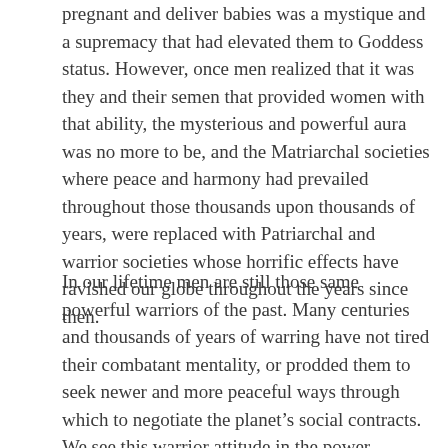pregnant and deliver babies was a mystique and a supremacy that had elevated them to Goddess status. However, once men realized that it was they and their semen that provided women with that ability, the mysterious and powerful aura was no more to be, and the Matriarchal societies where peace and harmony had prevailed throughout those thousands upon thousands of years, were replaced with Patriarchal and warrior societies whose horrific effects have ravished our globe throughout the years since then.
In our lifetime men are still those same powerful warriors of the past. Many centuries and thousands of years of warring have not tired their combatant mentality, or prodded them to seek newer and more peaceful ways through which to negotiate the planet's social contracts. We see this warrior attitude in the power struggles expressed within our marriages and that have led to a fifty percent divorce rate,